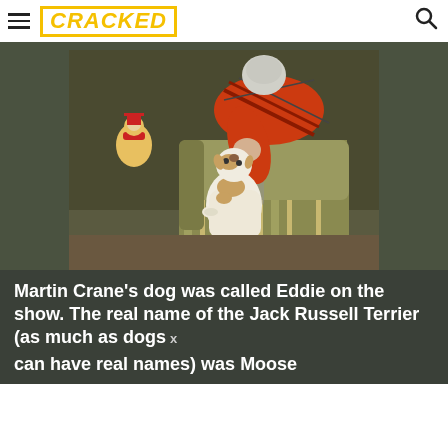CRACKED
[Figure (photo): An elderly man in a red plaid shirt leaning over an armchair to kiss or nuzzle a white Jack Russell Terrier dog. A clown figure is visible in the background. Indoor set scene.]
Martin Crane's dog was called Eddie on the show. The real name of the Jack Russell Terrier  (as much as dogs can have real names) was Moose